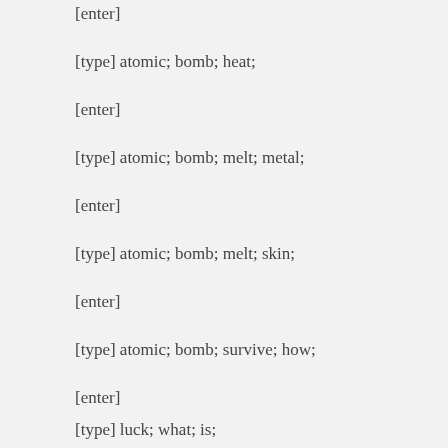[enter]
[type] atomic; bomb; heat;
[enter]
[type] atomic; bomb; melt; metal;
[enter]
[type] atomic; bomb; melt; skin;
[enter]
[type] atomic; bomb; survive; how;
[enter]
[type] luck; what; is;